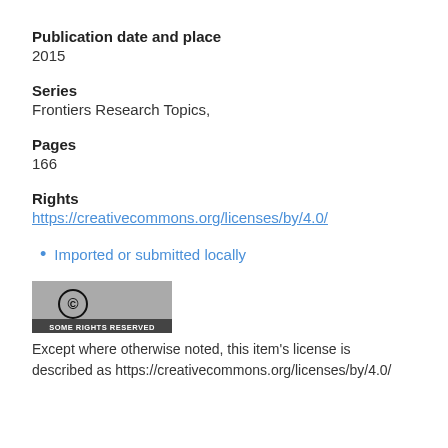Publication date and place
2015
Series
Frontiers Research Topics,
Pages
166
Rights
https://creativecommons.org/licenses/by/4.0/
Imported or submitted locally
[Figure (logo): Creative Commons logo with text 'SOME RIGHTS RESERVED']
Except where otherwise noted, this item's license is described as https://creativecommons.org/licenses/by/4.0/